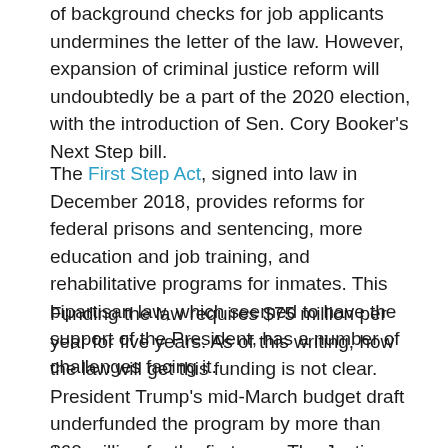of background checks for job applicants undermines the letter of the law. However, expansion of criminal justice reform will undoubtedly be a part of the 2020 election, with the introduction of Sen. Cory Booker's Next Step bill.
The First Step Act, signed into law in December 2018, provides reforms for federal prisons and sentencing, more education and job training, and rehabilitative programs for inmates. This bipartisan law, which seemed to have the support of the President, has a number of challenges facing it.
Funding the law requires $75 million per year for five years. As of this writing, how the law will get this funding is not clear. President Trump's mid-March budget draft underfunded the program by more than $60 million for the first year. The Justice Department could choose to reallocate funds or use savings from the early release of prisoners to help fund the